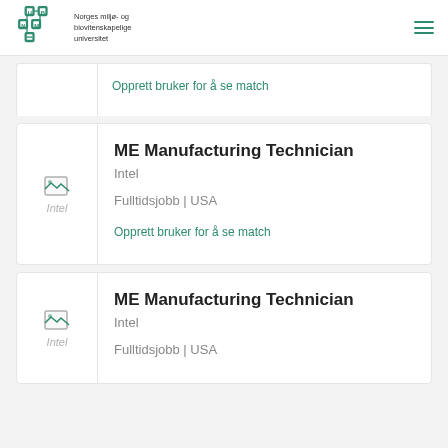Norges miljø- og biovitenskapelige universitet
Opprett bruker for å se match
ME Manufacturing Technician
Intel
Fulltidsjobb | USA
Opprett bruker for å se match
ME Manufacturing Technician
Intel
Fulltidsjobb | USA